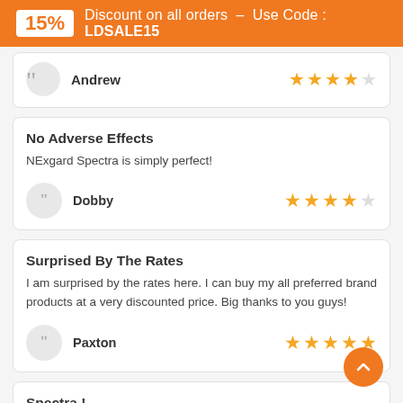15% Discount on all orders – Use Code : LDSALE15
Andrew
No Adverse Effects
NExgard Spectra is simply perfect!
Dobby
Surprised By The Rates
I am surprised by the rates here. I can buy my all preferred brand products at a very discounted price. Big thanks to you guys!
Paxton
Spectra !
Never disappointed. Works well on internal as well as